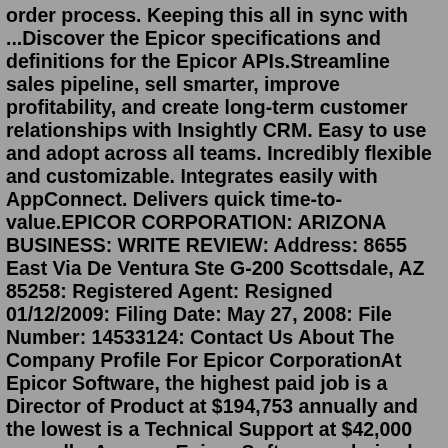order process. Keeping this all in sync with ...Discover the Epicor specifications and definitions for the Epicor APIs.Streamline sales pipeline, sell smarter, improve profitability, and create long-term customer relationships with Insightly CRM. Easy to use and adopt across all teams. Incredibly flexible and customizable. Integrates easily with AppConnect. Delivers quick time-to-value.EPICOR CORPORATION: ARIZONA BUSINESS: WRITE REVIEW: Address: 8655 East Via De Ventura Ste G-200 Scottsdale, AZ 85258: Registered Agent: Resigned 01/12/2009: Filing Date: May 27, 2008: File Number: 14533124: Contact Us About The Company Profile For Epicor CorporationAt Epicor Software, the highest paid job is a Director of Product at $194,753 annually and the lowest is a Technical Support at $42,000 annually. Average Epicor Software salaries by department include: Finance at $87,708, Operations at $133,107, Customer Support at $64,949, and Marketing at $120,424. ... API. Employers Employer Brand Tools ...Here are some common response